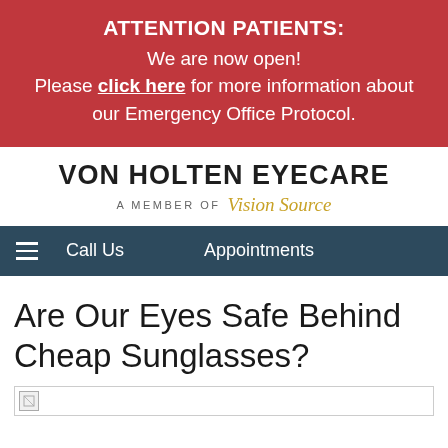ATTENTION PATIENTS:
We are now open! Please click here for more information about our Emergency Office Protocol.
VON HOLTEN EYECARE A MEMBER OF Vision Source
Call Us   Appointments
Are Our Eyes Safe Behind Cheap Sunglasses?
[Figure (photo): Image placeholder at the bottom of the page]